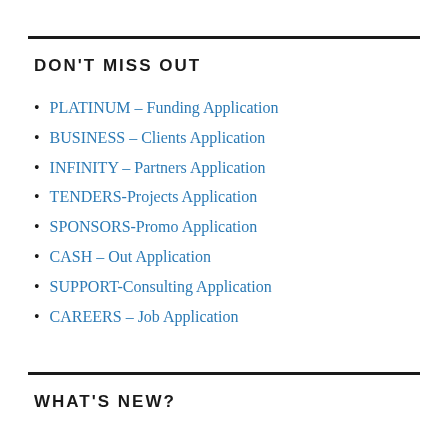DON'T MISS OUT
PLATINUM – Funding Application
BUSINESS – Clients Application
INFINITY – Partners Application
TENDERS-Projects Application
SPONSORS-Promo Application
CASH – Out Application
SUPPORT-Consulting Application
CAREERS – Job Application
WHAT'S NEW?